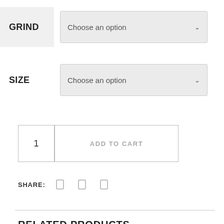GRIND — Choose an option (dropdown)
SIZE — Choose an option (dropdown)
1 (quantity) ADD TO CART (button)
SHARE: [icon] [icon] [icon]
RELATED PRODUCTS